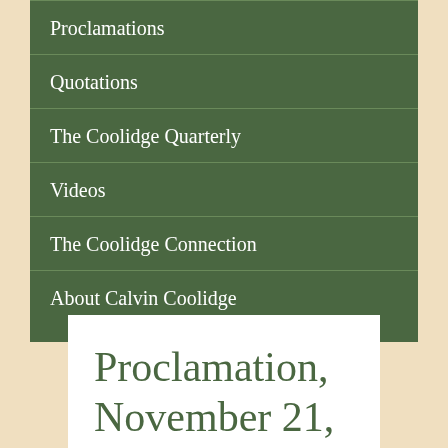Proclamations
Quotations
The Coolidge Quarterly
Videos
The Coolidge Connection
About Calvin Coolidge
Proclamation, November 21, 1925